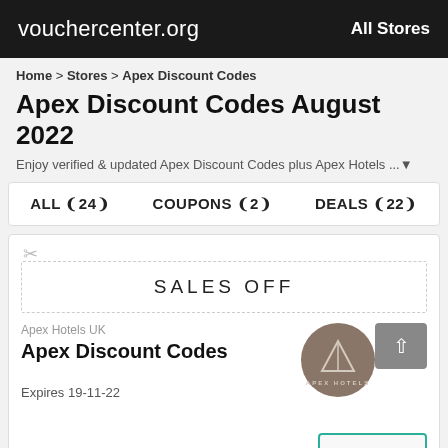vouchercenter.org    All Stores
Home > Stores > Apex Discount Codes
Apex Discount Codes August 2022
Enjoy verified & updated Apex Discount Codes plus Apex Hotels ... ▼
ALL (24)   COUPONS (2)   DEALS (22)
SALES OFF
Apex Hotels UK
Apex Discount Codes
[Figure (logo): Apex Hotels circular logo with a triangle/A symbol on brown background]
Expires 19-11-22
Get Deal